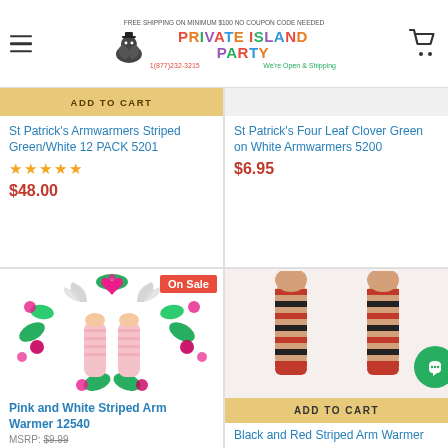Private Island Party - FREE SHIPPING ON MINIMUM $100 NO COUPON CODE NEEDED - 1(877)232-3215 We're Open & Shipping
St Patrick's Armwarmers Striped Green/White 12 PACK 5201
★★★★★
$48.00
St Patrick's Four Leaf Clover Green on White Armwarmers 5200
$6.95
[Figure (photo): Pink floral armwarmers surrounded by pink flowers and green leaves, with a pink ribbon and angel wings decoration]
On Sale
Pink and White Striped Arm Warmer 12540
MSRP: $9.99
[Figure (photo): Two hands wearing black and red striped fingerless arm warmers raised up]
ADD TO CART
Black and Red Striped Arm Warmer